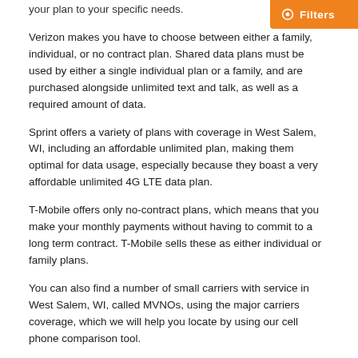your plan to your specific needs.
[Figure (other): Orange Filters button with settings icon in top right corner]
Verizon makes you have to choose between either a family, individual, or no contract plan. Shared data plans must be used by either a single individual plan or a family, and are purchased alongside unlimited text and talk, as well as a required amount of data.
Sprint offers a variety of plans with coverage in West Salem, WI, including an affordable unlimited plan, making them optimal for data usage, especially because they boast a very affordable unlimited 4G LTE data plan.
T-Mobile offers only no-contract plans, which means that you make your monthly payments without having to commit to a long term contract. T-Mobile sells these as either individual or family plans.
You can also find a number of small carriers with service in West Salem, WI, called MVNOs, using the major carriers coverage, which we will help you locate by using our cell phone comparison tool.